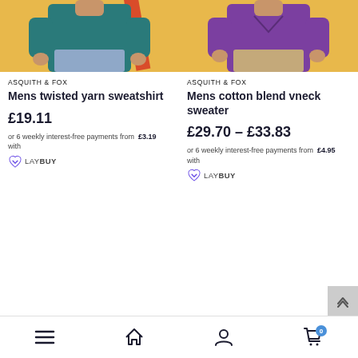[Figure (photo): Man wearing teal/dark green sweatshirt against yellow background, torso and arms visible]
[Figure (photo): Man wearing purple vneck sweater against yellow background, torso and arms visible]
ASQUITH & FOX
Mens twisted yarn sweatshirt
£19.11
or 6 weekly interest-free payments from £3.19 with LAYBUY
ASQUITH & FOX
Mens cotton blend vneck sweater
£29.70 – £33.83
or 6 weekly interest-free payments from £4.95 with LAYBUY